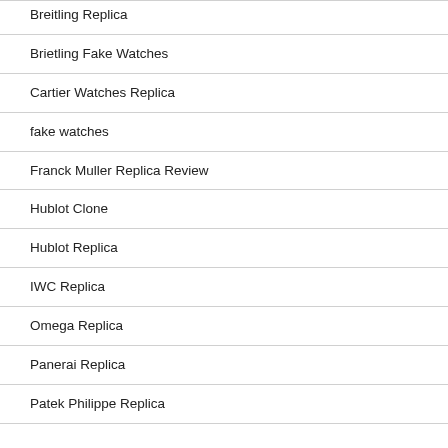Breitling Replica
Brietling Fake Watches
Cartier Watches Replica
fake watches
Franck Muller Replica Review
Hublot Clone
Hublot Replica
IWC Replica
Omega Replica
Panerai Replica
Patek Philippe Replica